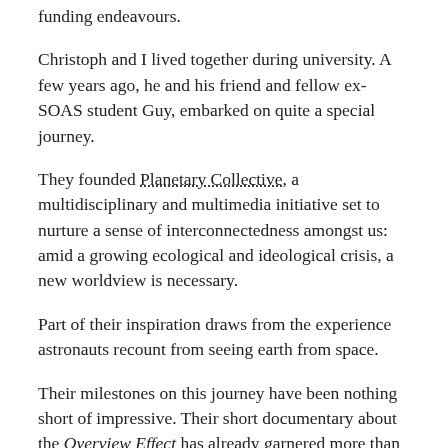funding endeavours.
Christoph and I lived together during university. A few years ago, he and his friend and fellow ex-SOAS student Guy, embarked on quite a special journey.
They founded Planetary Collective, a multidisciplinary and multimedia initiative set to nurture a sense of interconnectedness amongst us: amid a growing ecological and ideological crisis, a new worldview is necessary.
Part of their inspiration draws from the experience astronauts recount from seeing earth from space.
Their milestones on this journey have been nothing short of impressive. Their short documentary about the Overview Effect has already garnered more than 1m views on Vimeo: